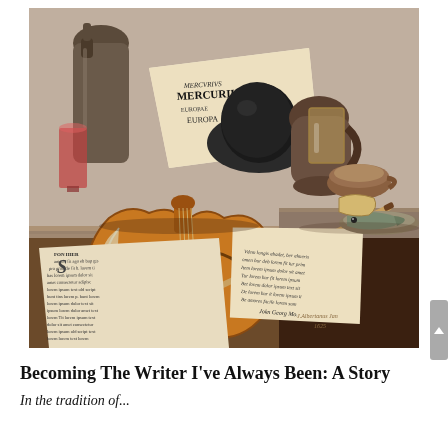[Figure (illustration): A Dutch Golden Age style oil painting still life depicting a violin, scattered papers with old script text (including a document labeled 'Mercurius Europa'), a large dark jug/hat, ceramic bowls, a glass, a feather quill, a fish on a plate, and a glass bottle, all arranged on a wooden table. The painting appears to be from the 17th century in the style of Pieter Claesz or similar Dutch masters.]
Becoming The Writer I've Always Been: A Story
In the tradition of...